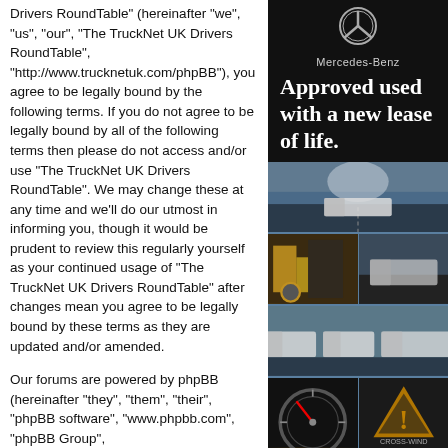Drivers RoundTable" (hereinafter "we", "us", "our", "The TruckNet UK Drivers RoundTable", "http://www.trucknetuk.com/phpBB"), you agree to be legally bound by the following terms. If you do not agree to be legally bound by all of the following terms then please do not access and/or use "The TruckNet UK Drivers RoundTable". We may change these at any time and we'll do our utmost in informing you, though it would be prudent to review this regularly yourself as your continued usage of "The TruckNet UK Drivers RoundTable" after changes mean you agree to be legally bound by these terms as they are updated and/or amended.
Our forums are powered by phpBB (hereinafter "they", "them", "their", "phpBB software", "www.phpbb.com", "phpBB Group",
[Figure (illustration): Mercedes-Benz vertical advertisement banner. Shows Mercedes star logo, brand name, headline 'Approved used with a new lease of life.' in white on black background, followed by four rows of truck/vehicle images.]